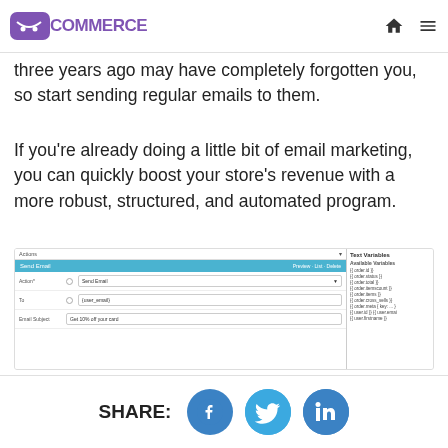WooCommerce
three years ago may have completely forgotten you, so start sending regular emails to them.
If you're already doing a little bit of email marketing, you can quickly boost your store's revenue with a more robust, structured, and automated program.
[Figure (screenshot): WooCommerce email automation interface showing Actions panel with Send Email action, fields for Action, To, Email Subject, and a Text Variables sidebar with available variables like order.id, order.status, order.total, order.itemscount, order.items, order.cross_sells, order.meta, user.id, user.email, user.firstname]
SHARE: